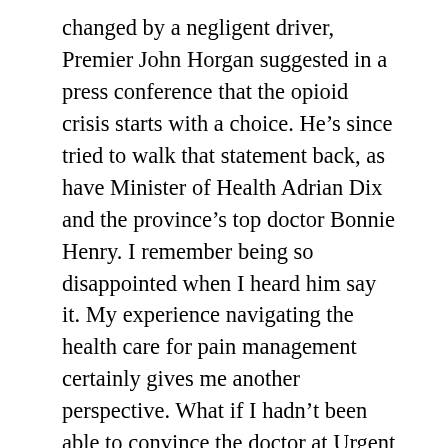changed by a negligent driver, Premier John Horgan suggested in a press conference that the opioid crisis starts with a choice. He's since tried to walk that statement back, as have Minister of Health Adrian Dix and the province's top doctor Bonnie Henry. I remember being so disappointed when I heard him say it. My experience navigating the health care for pain management certainly gives me another perspective. What if I hadn't been able to convince the doctor at Urgent Care to phone St. Paul's? I was out of options. I'm in terrible pain, and the pain management that I'm on only manages it. It is bearable, and I have a very high pain threshold. What would I have done if I wasn't able to get a prescription? If this was